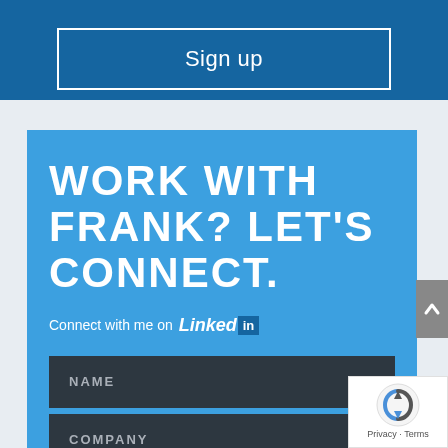[Figure (screenshot): Sign up button in dark blue section at top of page]
WORK WITH FRANK? LET'S CONNECT.
Connect with me on LinkedIn
NAME
COMPANY